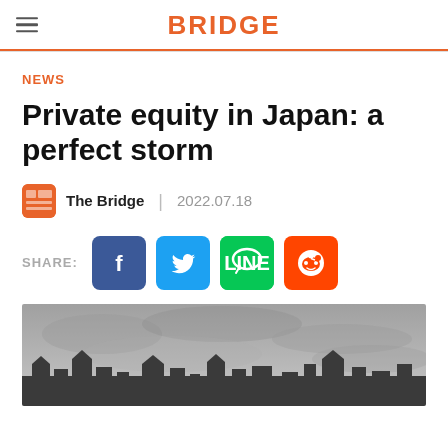BRIDGE
NEWS
Private equity in Japan: a perfect storm
The Bridge   |   2022.07.18
SHARE:
[Figure (photo): Stormy grey sky over a row of houses/buildings silhouetted at the bottom]